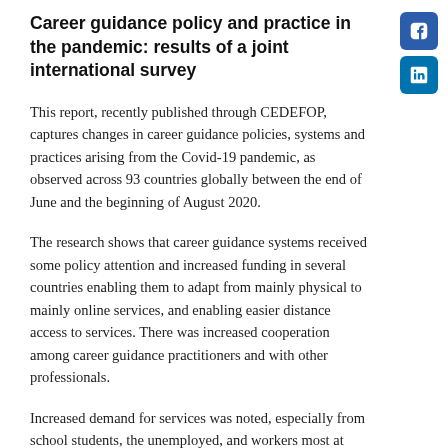Career guidance policy and practice in the pandemic: results of a joint international survey
[Figure (logo): Facebook social media icon button (blue square with white 'f')]
[Figure (logo): LinkedIn social media icon button (blue square with white 'in')]
This report, recently published through CEDEFOP, captures changes in career guidance policies, systems and practices arising from the Covid-19 pandemic, as observed across 93 countries globally between the end of June and the beginning of August 2020.
The research shows that career guidance systems received some policy attention and increased funding in several countries enabling them to adapt from mainly physical to mainly online services, and enabling easier distance access to services. There was increased cooperation among career guidance practitioners and with other professionals.
Increased demand for services was noted, especially from school students, the unemployed, and workers most at risk of unemployment. Respondents highlighted the need for